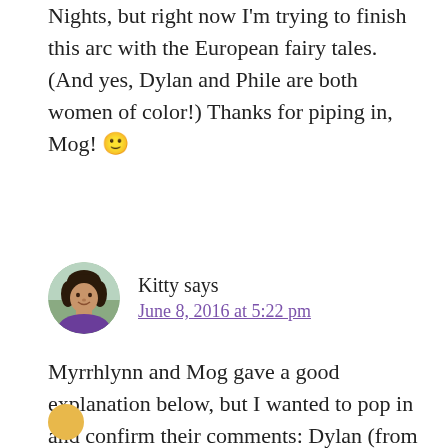Nights, but right now I'm trying to finish this arc with the European fairy tales. (And yes, Dylan and Phile are both women of color!) Thanks for piping in, Mog! 🙂
[Figure (photo): Circular avatar photo of a woman with dark curly hair, smiling, outdoors]
Kitty says
June 8, 2016 at 5:22 pm
Myrrhlynn and Mog gave a good explanation below, but I wanted to pop in and confirm their comments: Dylan (from the Little Selkie) is a person of color, as is Phile from the Snow Queen.